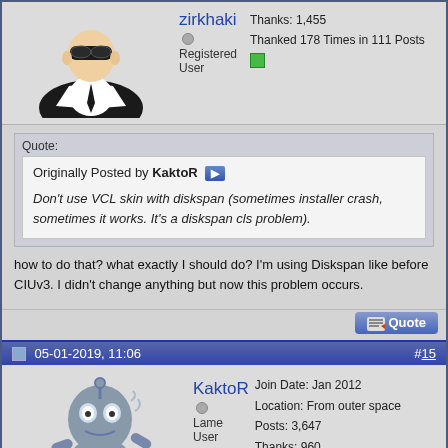zirkhaki — Registered User | Thanks: 1,455 | Thanked 178 Times in 111 Posts
Quote:
Originally Posted by KaktoR
Don't use VCL skin with diskspan (sometimes installer crash, sometimes it works. It's a diskspan cls problem).
how to do that? what exactly I should do? I'm using Diskspan like before CIUv3. I didn't change anything but now this problem occurs.
05-01-2019, 11:06 #15
KaktoR — Lame User | Join Date: Jan 2012 | Location: From outer space | Posts: 3,647 | Thanks: 960 | Thanked 5,936 Times in 2,199 Posts
Delete Setup.vsf file